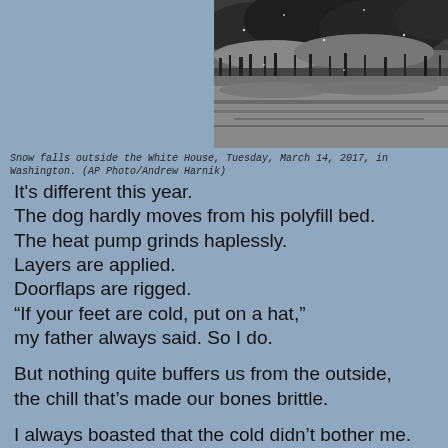[Figure (photo): Black and white photograph of snow falling outside the White House, showing a reflective surface (likely water) with dark clouds and trees silhouetted in the distance.]
Snow falls outside the White House, Tuesday, March 14, 2017, in Washington. (AP Photo/Andrew Harnik)
It's different this year.
The dog hardly moves from his polyfill bed.
The heat pump grinds haplessly.
Layers are applied.
Doorflaps are rigged.
“If your feet are cold, put on a hat,”
my father always said. So I do.
But nothing quite buffers us from the outside,
the chill that’s made our bones brittle.
I always boasted that the cold didn’t bother me.
I loved the snow,
the trees silhouetted at twilight.
Maybe it’s the cancer, but for the first time in my life
I think of moving,